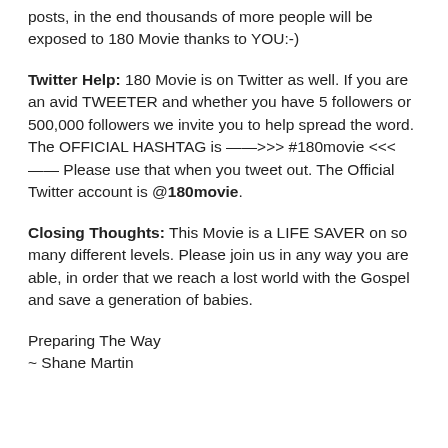posts, in the end thousands of more people will be exposed to 180 Movie thanks to YOU:-)
Twitter Help: 180 Movie is on Twitter as well. If you are an avid TWEETER and whether you have 5 followers or 500,000 followers we invite you to help spread the word. The OFFICIAL HASHTAG is ——>>>  #180movie <<<—— Please use that when you tweet out. The Official Twitter account is @180movie.
Closing Thoughts: This Movie is a LIFE SAVER on so many different levels. Please join us in any way you are able, in order that we reach a lost world with the Gospel and save a generation of babies.
Preparing The Way
~ Shane Martin